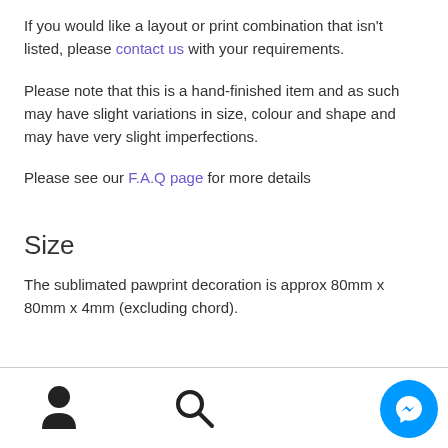If you would like a layout or print combination that isn't listed, please contact us with your requirements.
Please note that this is a hand-finished item and as such may have slight variations in size, colour and shape and may have very slight imperfections.
Please see our F.A.Q page for more details
Size
The sublimated pawprint decoration is approx 80mm x 80mm x 4mm (excluding chord).
Footer with user, search, and messenger icons